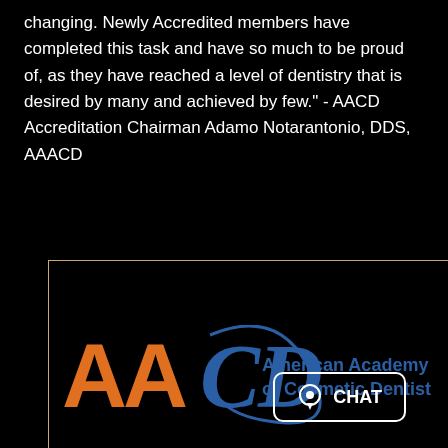changing. Newly Accredited members have completed this task and have so much to be proud of, as they have reached a level of dentistry that is desired by many and achieved by few." - AACD Accreditation Chairman Adamo Notarantonio, DDS, AAACD
[Figure (logo): AACD - American Academy of Cosmetic Dentistry logo on black background, with orange 'AA' letters and blue 'CD' swirl letterform, followed by blue text 'American Academy of Cosmetic Dentistry']